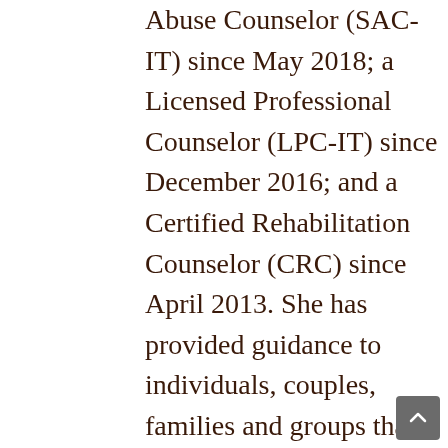Abuse Counselor (SAC-IT) since May 2018; a Licensed Professional Counselor (LPC-IT) since December 2016; and a Certified Rehabilitation Counselor (CRC) since April 2013. She has provided guidance to individuals, couples, families and groups that have experienced issues affecting their mental health and well-being. Working for the Division of Vocational Rehabilitation, she has counseled individuals with